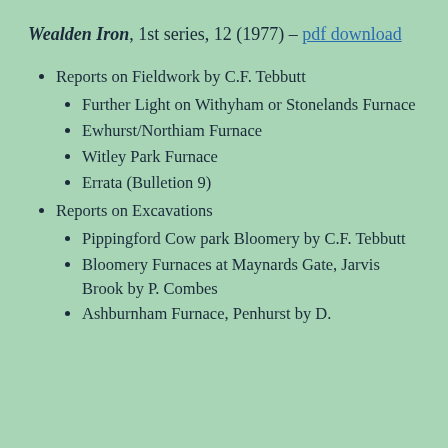Wealden Iron, 1st series, 12 (1977) – pdf download
Reports on Fieldwork by C.F. Tebbutt
Further Light on Withyham or Stonelands Furnace
Ewhurst/Northiam Furnace
Witley Park Furnace
Errata (Bulletion 9)
Reports on Excavations
Pippingford Cow park Bloomery by C.F. Tebbutt
Bloomery Furnaces at Maynards Gate, Jarvis Brook by P. Combes
Ashburnham Furnace, Penhurst by D.